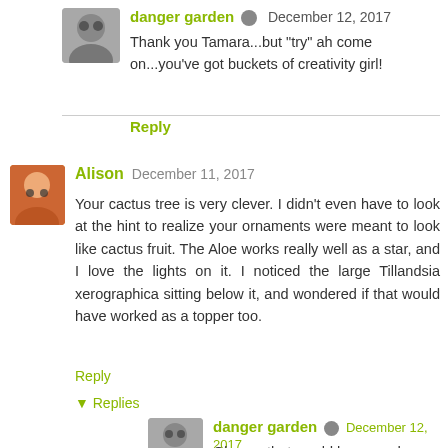[Figure (photo): Avatar image of danger garden user, small circular-ish gray avatar]
danger garden ✎ December 12, 2017
Thank you Tamara...but "try" ah come on...you've got buckets of creativity girl!
Reply
[Figure (photo): Avatar image of Alison user]
Alison December 11, 2017
Your cactus tree is very clever. I didn't even have to look at the hint to realize your ornaments were meant to look like cactus fruit. The Aloe works really well as a star, and I love the lights on it. I noticed the large Tillandsia xerographica sitting below it, and wondered if that would have worked as a topper too.
Reply
▼ Replies
[Figure (photo): Avatar image of danger garden user]
danger garden ✎ December 12, 2017
Oh yes, that would have made a beautiful star!